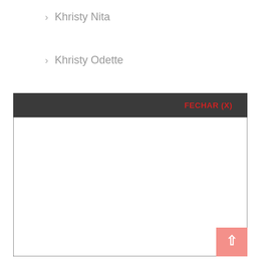› Khristy Nita
› Khristy Odette
[Figure (screenshot): A modal dialog UI element with a dark header bar showing 'FECHAR (X)' in red text, and a large white empty body with a border. A pink/salmon scroll-to-top button with an upward arrow appears at the bottom right.]